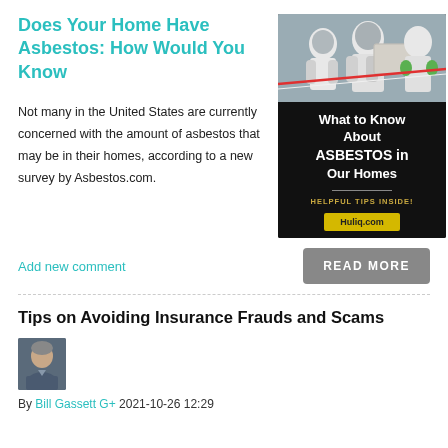Does Your Home Have Asbestos: How Would You Know
Not many in the United States are currently concerned with the amount of asbestos that may be in their homes, according to a new survey by Asbestos.com.
[Figure (infographic): Advertisement image showing hazmat workers handling asbestos panels, with text overlay reading 'What to Know About ASBESTOS in Our Homes' and 'HELPFUL TIPS INSIDE!' with a yellow button labeled 'Huliq.com']
Add new comment
READ MORE
Tips on Avoiding Insurance Frauds and Scams
[Figure (photo): Headshot photo of author Bill Gassett, a bald man in a dark shirt]
By Bill Gassett G+ 2021-10-26 12:29